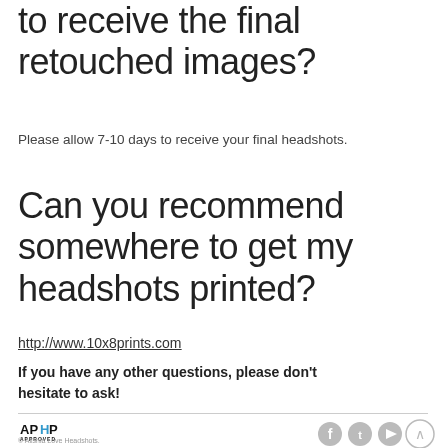to receive the final retouched images?
Please allow 7-10 days to receive your final headshots.
Can you recommend somewhere to get my headshots printed?
http://www.10x8prints.com
If you have any other questions, please don't hesitate to ask!
© Alishia Love Headshots. contact@alishialoveheadshots.com